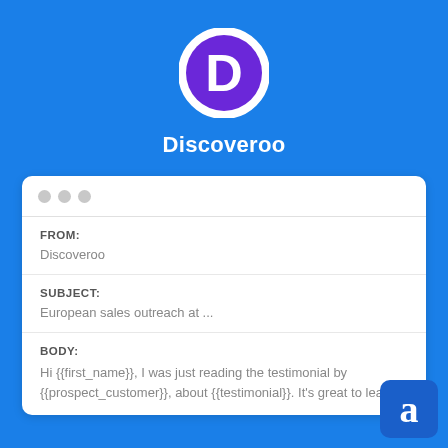[Figure (logo): Discoveroo logo: white circle with purple D letter inside, on blue background]
Discoveroo
FROM:
Discoveroo
SUBJECT:
European sales outreach at ...
BODY:
Hi {{first_name}}, I was just reading the testimonial by {{prospect_customer}}, about {{testimonial}}. It's great to learn...